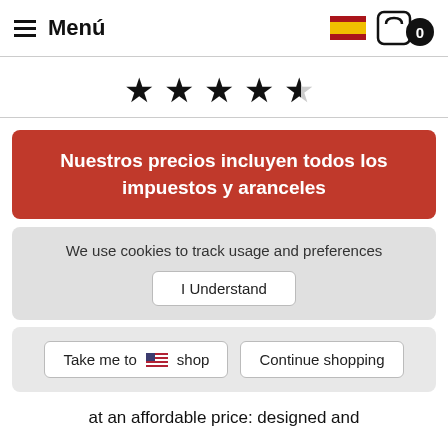≡ Menú
[Figure (illustration): Star rating: 4.5 out of 5 stars]
Nuestros precios incluyen todos los impuestos y aranceles
We use cookies to track usage and preferences
I Understand
Take me to 🇺🇸 shop   Continue shopping
at an affordable price: designed and